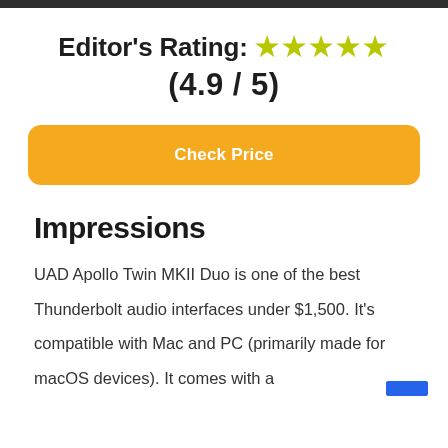[Figure (other): Dark top bar at top of page]
Editor's Rating: ★★★★★ (4.9 / 5)
Check Price
Impressions
UAD Apollo Twin MKII Duo is one of the best Thunderbolt audio interfaces under $1,500. It's compatible with Mac and PC (primarily made for macOS devices). It comes with a